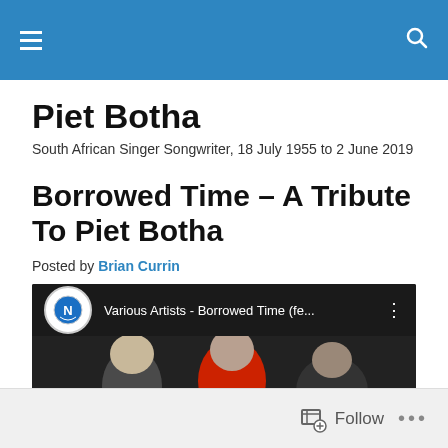Navigation bar with hamburger menu and search icon
Piet Botha
South African Singer Songwriter, 18 July 1955 to 2 June 2019
Borrowed Time – A Tribute To Piet Botha
Posted by Brian Currin
[Figure (screenshot): YouTube video thumbnail showing 'Various Artists - Borrowed Time (fe...' with NEXT logo and people in background]
Follow ...